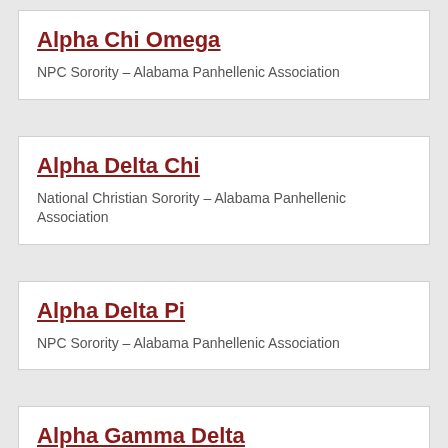Alpha Chi Omega
NPC Sorority – Alabama Panhellenic Association
Alpha Delta Chi
National Christian Sorority – Alabama Panhellenic Association
Alpha Delta Pi
NPC Sorority – Alabama Panhellenic Association
Alpha Gamma Delta
NPC Sorority – Alabama Panhellenic Association